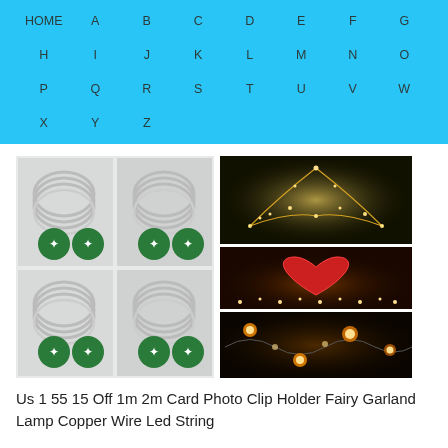HOME A B C D E F G H I J K L M N O P Q R S T U V W X Y Z
[Figure (photo): Product photo of 4 packs of LED fairy string lights with coin battery holders on the left, and three collage photos on the right showing lights used on an umbrella shape, a heart shape with warm white LEDs, and string lights with bulbs.]
Us 1 55 15 Off 1m 2m Card Photo Clip Holder Fairy Garland Lamp Copper Wire Led String